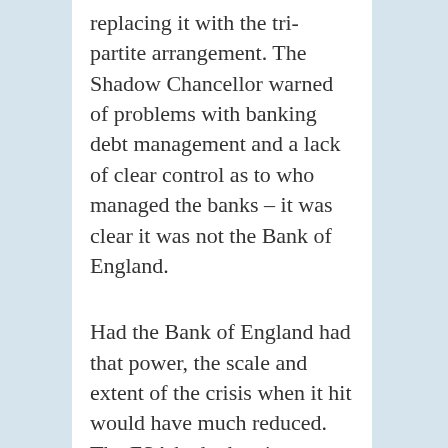replacing it with the tri-partite arrangement. The Shadow Chancellor warned of problems with banking debt management and a lack of clear control as to who managed the banks – it was clear it was not the Bank of England.
Had the Bank of England had that power, the scale and extent of the crisis when it hit would have much reduced. The FSA had taken its